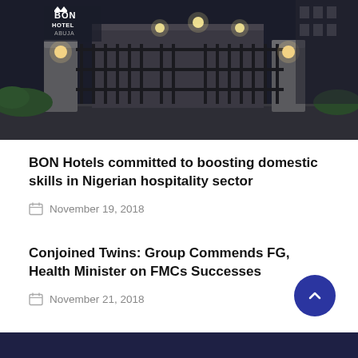[Figure (photo): Night-time exterior of BON Hotel Abuja showing illuminated iron gate entrance with white stone pillars and the BON Hotel Abuja logo visible in the upper left.]
BON Hotels committed to boosting domestic skills in Nigerian hospitality sector
November 19, 2018
Conjoined Twins: Group Commends FG, Health Minister on FMCs Successes
November 21, 2018